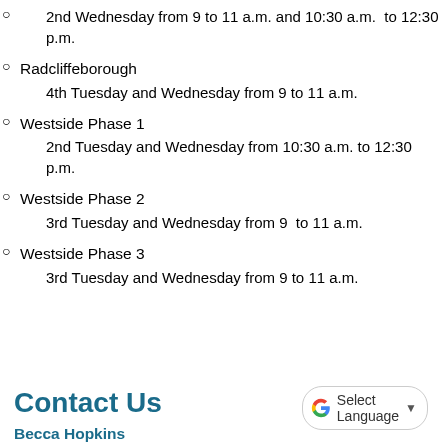2nd Wednesday from 9 to 11 a.m. and 10:30 a.m. to 12:30 p.m.
Radcliffeborough
4th Tuesday and Wednesday from 9 to 11 a.m.
Westside Phase 1
2nd Tuesday and Wednesday from 10:30 a.m. to 12:30 p.m.
Westside Phase 2
3rd Tuesday and Wednesday from 9  to 11 a.m.
Westside Phase 3
3rd Tuesday and Wednesday from 9 to 11 a.m.
Contact Us
Becca Hopkins